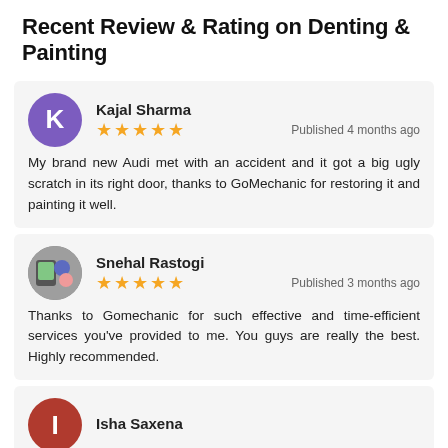Recent Review & Rating on Denting & Painting
Kajal Sharma
★★★★★
Published 4 months ago
My brand new Audi met with an accident and it got a big ugly scratch in its right door, thanks to GoMechanic for restoring it and painting it well.
Snehal Rastogi
★★★★★
Published 3 months ago
Thanks to Gomechanic for such effective and time-efficient services you've provided to me. You guys are really the best. Highly recommended.
Isha Saxena